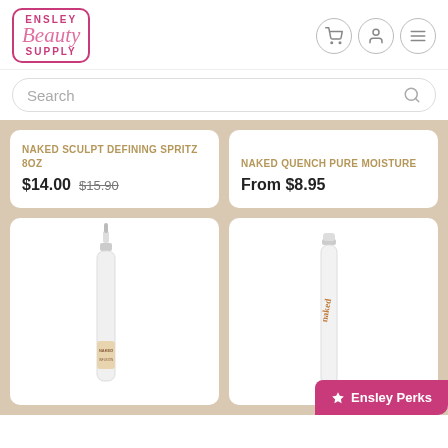[Figure (logo): Ensley Beauty Supply logo with pink cursive and bordered box]
Search
NAKED SCULPT DEFINING SPRITZ 8OZ
$14.00  $15.90
NAKED QUENCH PURE MOISTURE
From $8.95
[Figure (photo): Naked Infusion spray bottle product photo]
[Figure (photo): Naked branded bottle product photo]
Ensley Perks